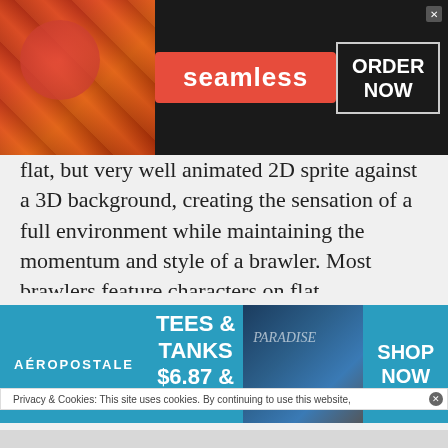[Figure (screenshot): Seamless food delivery advertisement banner with pizza image on left, red Seamless logo in center, and ORDER NOW button on right with dark background]
flat, but very well animated 2D sprite against a 3D background, creating the sensation of a full environment while maintaining the momentum and style of a brawler. Most brawlers feature characters on flat backgrounds that were oriented in a warped view, so where the background remained flat and animated, the foreground perspective had players looking down on the battle. I Am The Hero adopts this unique style as a means to distinguish itself from the competition, but it creates an interesting and unique
[Figure (screenshot): Cookie consent notice bar: 'Privacy & Cookies: This site uses cookies. By continuing to use this website,']
[Figure (screenshot): Aeropostale advertisement banner: TEES & TANKS $6.87 & UP with SHOP NOW button, teal background with image of folded clothes]